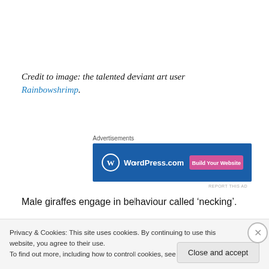Credit to image: the talented deviant art user Rainbowshrimp.
[Figure (screenshot): WordPress.com advertisement banner with blue background, WordPress logo, and pink 'Build Your Website' button]
Male giraffes engage in behaviour called ‘necking’.
Privacy & Cookies: This site uses cookies. By continuing to use this website, you agree to their use.
To find out more, including how to control cookies, see here: Cookie Policy